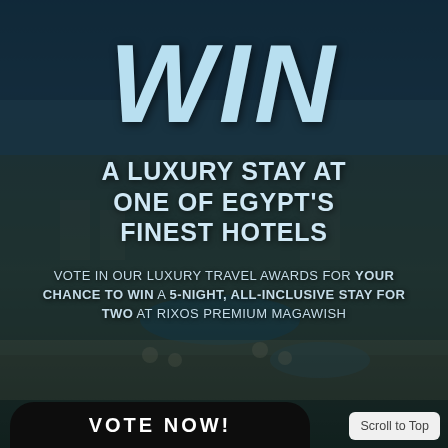[Figure (photo): Aerial view of a luxury resort hotel in Egypt with pool areas, beach, and sea in background, overlaid with dark semi-transparent tint]
WIN
A LUXURY STAY AT ONE OF EGYPT'S FINEST HOTELS
VOTE IN OUR LUXURY TRAVEL AWARDS FOR YOUR CHANCE TO WIN A 5-NIGHT, ALL-INCLUSIVE STAY FOR TWO AT RIXOS PREMIUM MAGAWISH
VOTE NOW!
Scroll to Top